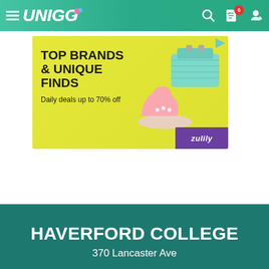[Figure (screenshot): Unigo website navigation bar with hamburger menu, Unigo logo, search icon, notification bell with badge showing 6, and user profile icon]
[Figure (infographic): Advertisement banner for Zulily with yellow background, text 'TOP BRANDS & UNIQUE FINDS Daily deals up to 70% off', product images of pink shoes and teal/mint bag, and purple Zulily branding in bottom right corner]
HAVERFORD COLLEGE
370 Lancaster Ave